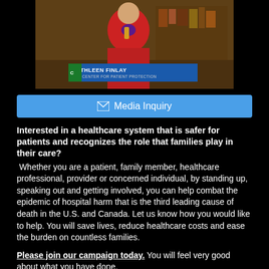[Figure (screenshot): Video screenshot of Kathleen Finlay from The Center for Patient Protection, shown with a name bar overlay on a TV news-style graphic.]
Media Inquiry
Interested in a healthcare system that is safer for patients and recognizes the role that families play in their care? Whether you are a patient, family member, healthcare professional, provider or concerned individual, by standing up, speaking out and getting involved, you can help combat the epidemic of hospital harm that is the third leading cause of death in the U.S. and Canada. Let us know how you would like to help. You will save lives, reduce healthcare costs and ease the burden on countless families.
Please join our campaign today. You will feel very good about what you have done.